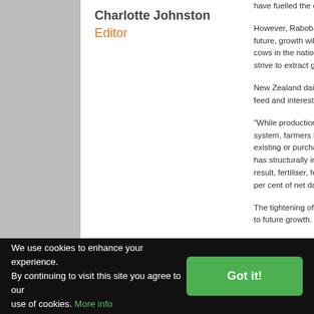Charlotte Johnston
Editor
have fuelled the deve...
However, Rabobank... future, growth will no... cows in the national h... strive to extract grea...
New Zealand dairy o... feed and interest cos...
"While production is ... system, farmers have... existing or purchased... has structurally incre... result, fertiliser, feed,... per cent of net dairy ...
The tightening of env... to future growth.
We use cookies to enhance your experience. By continuing to visit this site you agree to our use of cookies. More info